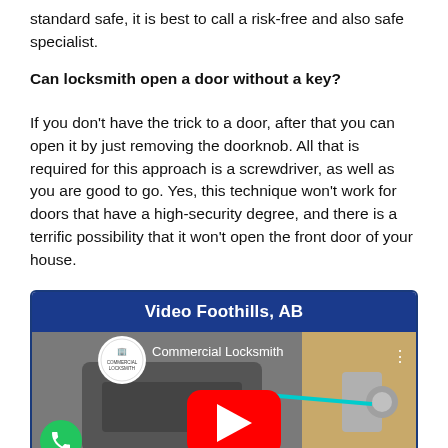standard safe, it is best to call a risk-free and also safe specialist.
Can locksmith open a door without a key?
If you don't have the trick to a door, after that you can open it by just removing the doorknob. All that is required for this approach is a screwdriver, as well as you are good to go. Yes, this technique won't work for doors that have a high-security degree, and there is a terrific possibility that it won't open the front door of your house.
[Figure (screenshot): Video embed box with dark blue header 'Video Foothills, AB' and a YouTube video thumbnail showing a locksmith working on a door lock, with Commercial Locksmith channel icon and play button overlay. A green phone icon bubble appears at bottom left.]